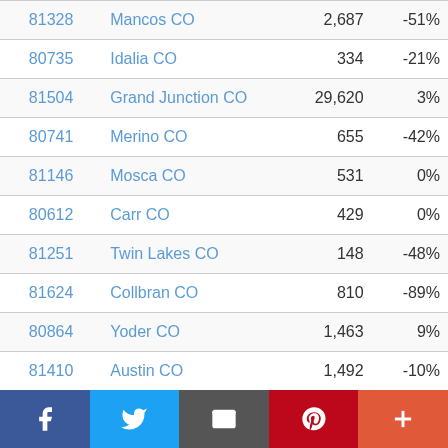| ZIP | City | Population | Change |
| --- | --- | --- | --- |
| 81328 | Mancos CO | 2,687 | -51% |
| 80735 | Idalia CO | 334 | -21% |
| 81504 | Grand Junction CO | 29,620 | 3% |
| 80741 | Merino CO | 655 | -42% |
| 81146 | Mosca CO | 531 | 0% |
| 80612 | Carr CO | 429 | 0% |
| 81251 | Twin Lakes CO | 148 | -48% |
| 81624 | Collbran CO | 810 | -89% |
| 80864 | Yoder CO | 1,463 | 9% |
| 81410 | Austin CO | 1,492 | -10% |